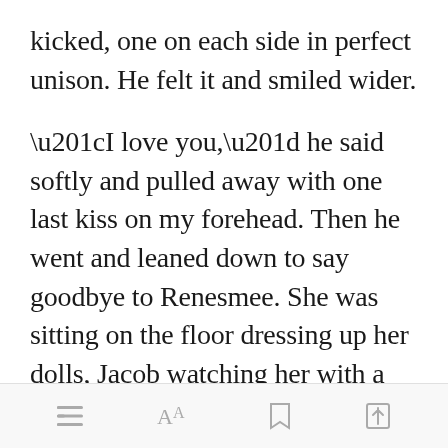kicked, one on each side in perfect unison. He felt it and smiled wider.
“I love you,” he said softly and pulled away with one last kiss on my forehead. Then he went and leaned down to say goodbye to Renesmee. She was sitting on the floor dressing up her dolls, Jacob watching her with a smile on his face.
Open in app | toolbar icons